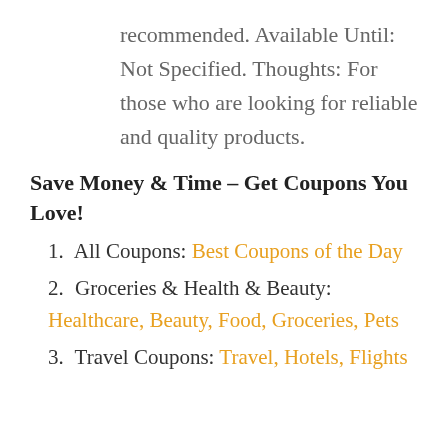recommended. Available Until: Not Specified. Thoughts: For those who are looking for reliable and quality products.
Save Money & Time – Get Coupons You Love!
1. All Coupons: Best Coupons of the Day
2. Groceries & Health & Beauty: Healthcare, Beauty, Food, Groceries, Pets
3. Travel Coupons: Travel, Hotels, Flights